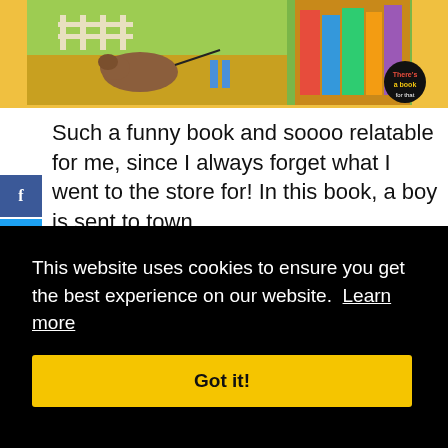[Figure (illustration): Children's book illustration showing a boy with a dog on a leash against a colorful background with green and yellow tones, and stacked books on the right side with a circular logo overlay]
Such a funny book and soooo relatable for me, since I always forget what I went to the store for! In this book, a boy is sent to town
This website uses cookies to ensure you get the best experience on our website.  Learn more
Got it!